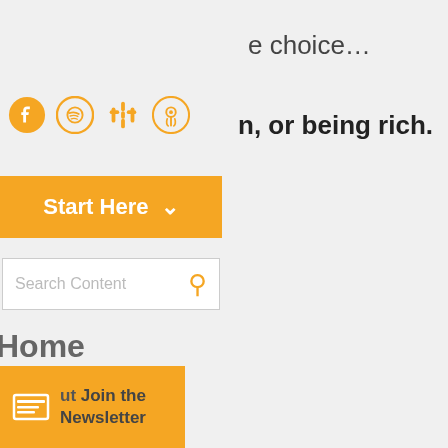e choice...
n, or being rich.
[Figure (other): Social media icons: Facebook, Spotify, Google Podcasts, Apple Podcasts in orange]
Start Here ∨
Search Content
Home
Podcasts
All Content
ut Join the Newsletter